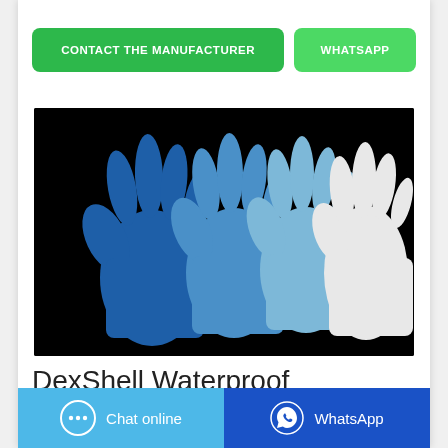CONTACT THE MANUFACTURER
WHATSAPP
[Figure (photo): Photo of multiple disposable gloves in dark blue, light blue, and white colors arranged against a black background.]
DexShell Waterproof
Chat online
WhatsApp